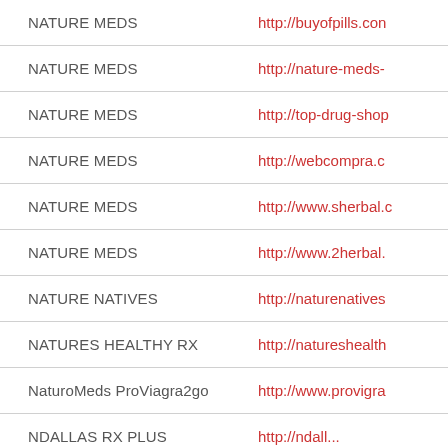| Name | URL |
| --- | --- |
| NATURE MEDS | http://buyofpills.con |
| NATURE MEDS | http://nature-meds- |
| NATURE MEDS | http://top-drug-shop |
| NATURE MEDS | http://webcompra.c |
| NATURE MEDS | http://www.sherbal.c |
| NATURE MEDS | http://www.2herbal. |
| NATURE NATIVES | http://naturenatives |
| NATURES HEALTHY RX | http://natureshealth |
| NaturoMeds ProViagra2go | http://www.provigra |
| NDALLAS RX PLUS | http://ndall... |